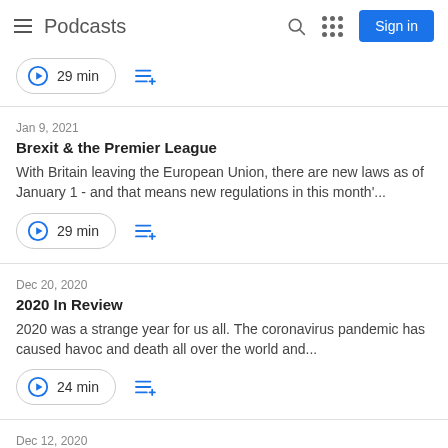Podcasts — Sign in
29 min
Jan 9, 2021
Brexit & the Premier League
With Britain leaving the European Union, there are new laws as of January 1 - and that means new regulations in this month'...
29 min
Dec 20, 2020
2020 In Review
2020 was a strange year for us all. The coronavirus pandemic has caused havoc and death all over the world and...
24 min
Dec 12, 2020